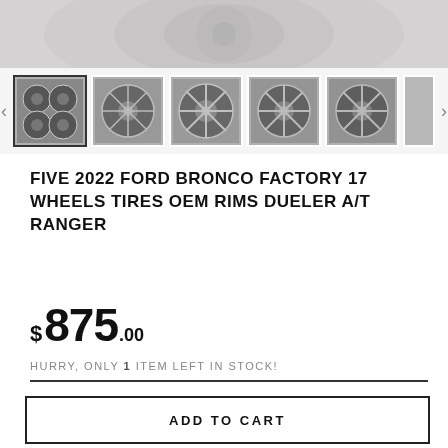[Figure (photo): Top portion of a wheel/tire image, cropped, showing grey/silver wheel against light background]
[Figure (photo): Thumbnail image carousel showing 5+ images of Ford Bronco factory 17-inch wheels/rims with navigation arrows on left and right]
FIVE 2022 FORD BRONCO FACTORY 17 WHEELS TIRES OEM RIMS DUELER A/T RANGER
$ 875.00
HURRY, ONLY 1 ITEM LEFT IN STOCK!
ADD TO CART